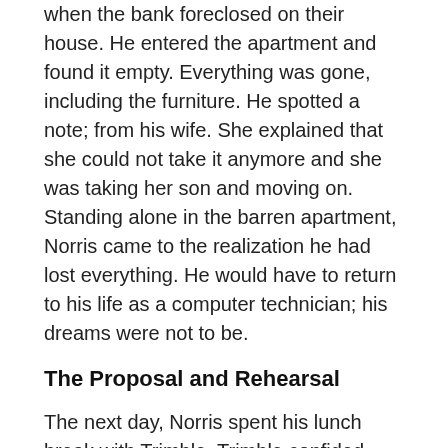when the bank foreclosed on their house. He entered the apartment and found it empty. Everything was gone, including the furniture. He spotted a note; from his wife. She explained that she could not take it anymore and she was taking her son and moving on. Standing alone in the barren apartment, Norris came to the realization he had lost everything. He would have to return to his life as a computer technician; his dreams were not to be.
The Proposal and Rehearsal
The next day, Norris spent his lunch break with Trimble. Trimble confided with him about his own marital woes and Norris shared his hard